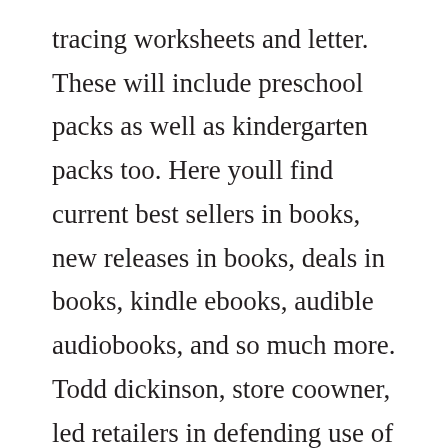tracing worksheets and letter. These will include preschool packs as well as kindergarten packs too. Here youll find current best sellers in books, new releases in books, deals in books, kindle ebooks, audible audiobooks, and so much more. Todd dickinson, store coowner, led retailers in defending use of the flags at a meeting of borough council. Artists artist is rich with images of theks wildly varied work from the 50s to the 80s, and reveals how thek the person sometimes interfered with thek the